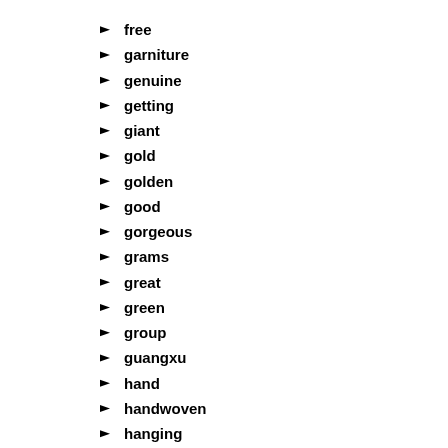free
garniture
genuine
getting
giant
gold
golden
good
gorgeous
grams
great
green
group
guangxu
hand
handwoven
hanging
heavily